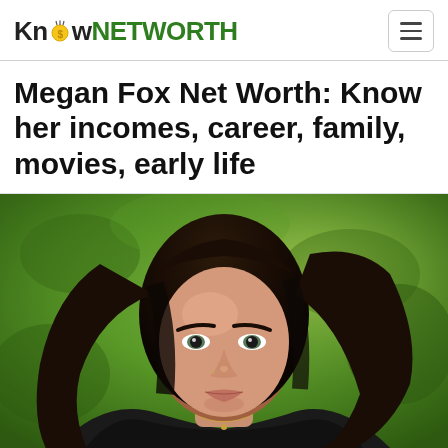KnowNETWORTH
Megan Fox Net Worth: Know her incomes, career, family, movies, early life
[Figure (photo): Portrait photograph of Megan Fox, a young woman with long dark brown hair, looking directly at the camera, with a blurred green outdoor background. She is wearing a dark jacket and a thin necklace.]